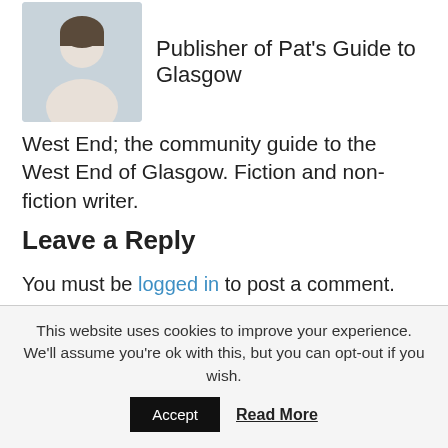[Figure (photo): Author profile photo thumbnail — small portrait photo of a person]
Publisher of Pat's Guide to Glasgow
West End; the community guide to the West End of Glasgow. Fiction and non-fiction writer.
Leave a Reply
You must be logged in to post a comment.
[Figure (infographic): Social sharing icons: email (grey), Pinterest (red), Facebook (blue), Twitter (light blue)]
Related Pages
This website uses cookies to improve your experience. We'll assume you're ok with this, but you can opt-out if you wish.
Accept   Read More